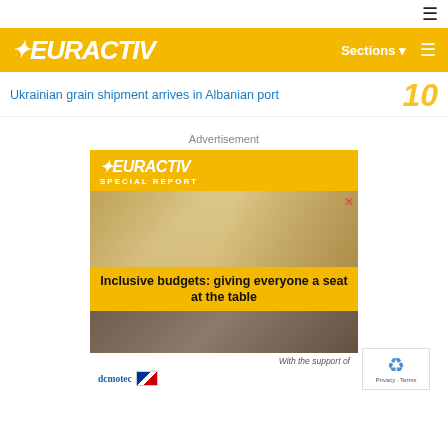☰
EURACTIV  Sections ☰
Ukrainian grain shipment arrives in Albanian port
Advertisement
[Figure (screenshot): EURACTIV Special Report advertisement banner with headline 'Inclusive budgets: giving everyone a seat at the table', with support from demotec, showing a meeting/conference room photo background.]